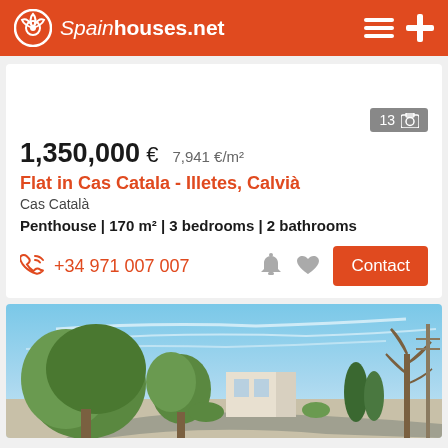Spainhouses.net
13 [photo icon]
1,350,000 €   7,941 €/m²
Flat in Cas Catala - Illetes, Calvià
Cas Català
Penthouse | 170 m² | 3 bedrooms | 2 bathrooms
+34 971 007 007
[Figure (photo): Exterior view of a property with trees in foreground, blue sky with wispy clouds in background, residential street visible]